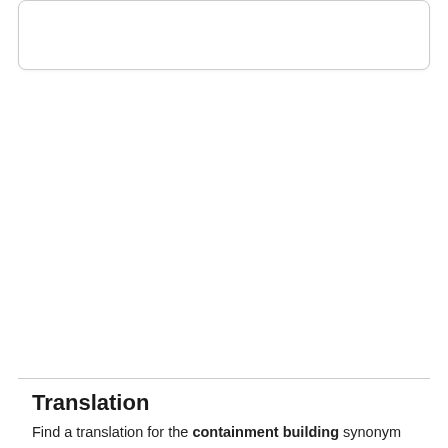[Figure (other): A rounded rectangle card/box UI element, empty white box with light grey border and subtle shadow]
Translation
Find a translation for the containment building synonym